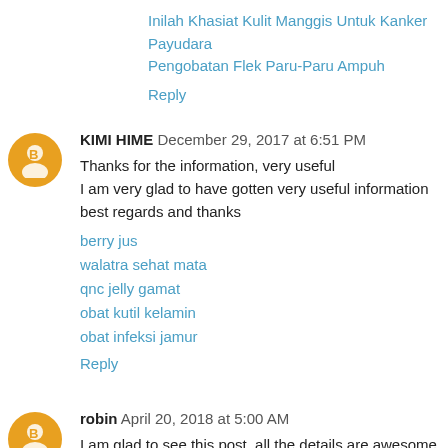Inilah Khasiat Kulit Manggis Untuk Kanker Payudara
Pengobatan Flek Paru-Paru Ampuh
Reply
KIMI HIME  December 29, 2017 at 6:51 PM
Thanks for the information, very useful
I am very glad to have gotten very useful information
best regards and thanks
berry jus
walatra sehat mata
qnc jelly gamat
obat kutil kelamin
obat infeksi jamur
Reply
robin  April 20, 2018 at 5:00 AM
I am glad to see this post. all the details are awesome and good in this post.